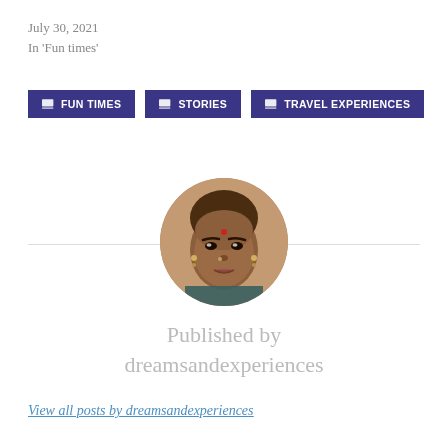July 30, 2021
In 'Fun times'
FUN TIMES
STORIES
TRAVEL EXPERIENCES
[Figure (photo): Circular profile photo of a woman with a bindi, earrings, and nose ring, looking at the camera]
Published by
dreamsandexperiences
View all posts by dreamsandexperiences